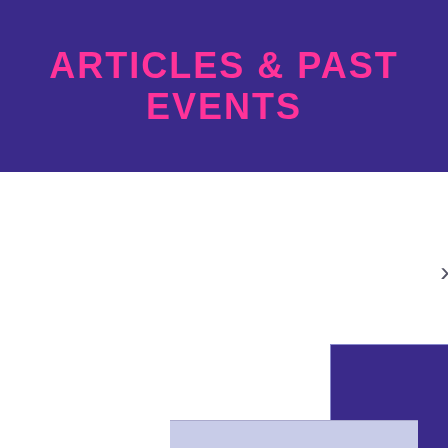ARTICLES & PAST EVENTS
[Figure (screenshot): A card with a dark purple image area and a lighter purple-grey text area showing an article preview for 'How to make valuable connections'. A right-pointing arrow navigation chevron is visible on the right side.]
How to make valuable connections